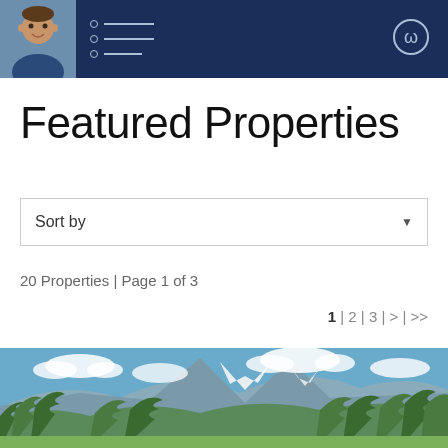Featured Properties - Navigation header with avatar and menu
Featured Properties
Sort by
20 Properties | Page 1 of 3
1 | 2 | 3 | > | >>
[Figure (photo): Landscape photo showing a mountain with snow-capped peaks against a blue sky with clouds, surrounded by green trees and fields in the foreground]